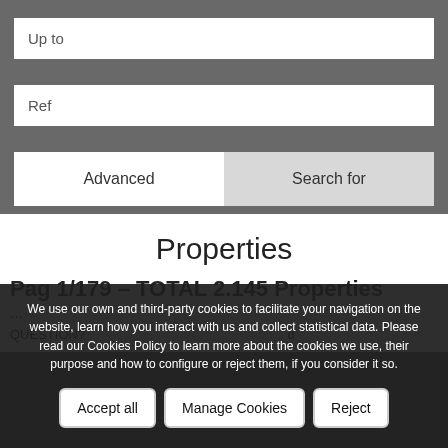Up to
Ref
Advanced
Search for
Properties
Pag 1/179 – TOTAL 2.145 Properties
We use our own and third-party cookies to facilitate your navigation on the website, learn how you interact with us and collect statistical data. Please read our Cookies Policy to learn more about the cookies we use, their purpose and how to configure or reject them, if you consider it so.
Accept all
Manage Cookies
Reject
QUESTION?
Arrange